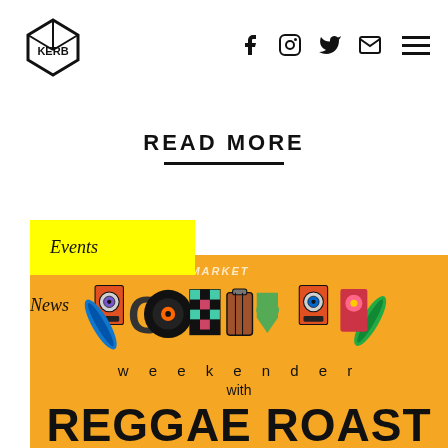KERB logo and navigation icons: Facebook, Instagram, Twitter, Email, Menu
READ MORE
Events
News
[Figure (illustration): Carnival Weekender with Reggae Roast promotional image on orange/yellow background with decorative letter artwork spelling CARNIVAL weekender with REGGAE ROAST text below]